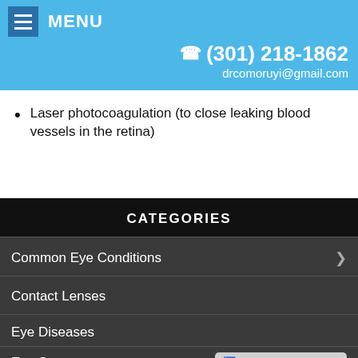MENU | (301) 218-1862 | drcomoruyi@gmail.com
Laser photocoagulation (to close leaking blood vessels in the retina)
CATEGORIES
Common Eye Conditions
Contact Lenses
Eye Diseases
Eyeglasses
Eye Symptoms